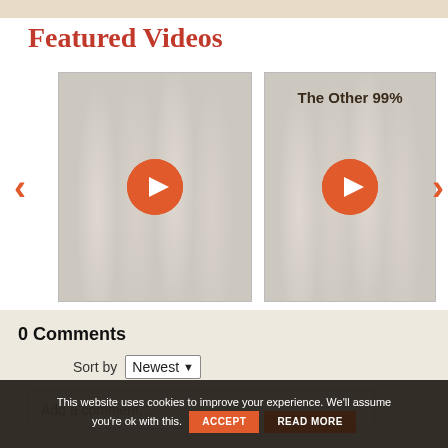Featured Videos
[Figure (screenshot): Video carousel with two video thumbnails showing blurred finger/hand imagery. Left thumbnail has a play button (orange circle with triangle). Right thumbnail has title 'The Other 99%' and a play button. Orange left and right navigation arrows flank the carousel.]
0 Comments
Sort by Newest
Add a comment...
This website uses cookies to improve your experience. We'll assume you're ok with this.
ACCEPT
READ MORE